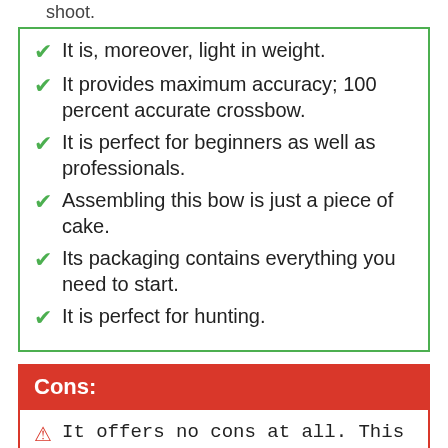It is, moreover, light in weight.
It provides maximum accuracy; 100 percent accurate crossbow.
It is perfect for beginners as well as professionals.
Assembling this bow is just a piece of cake.
Its packaging contains everything you need to start.
It is perfect for hunting.
Cons:
It offers no cons at all. This can be your best buy!